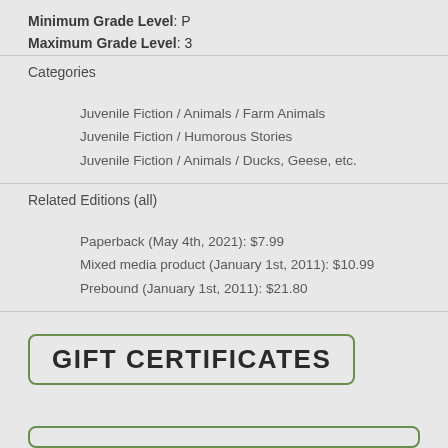Minimum Grade Level: P
Maximum Grade Level: 3
Categories
Juvenile Fiction / Animals / Farm Animals
Juvenile Fiction / Humorous Stories
Juvenile Fiction / Animals / Ducks, Geese, etc.
Related Editions (all)
Paperback (May 4th, 2021): $7.99
Mixed media product (January 1st, 2011): $10.99
Prebound (January 1st, 2011): $21.80
GIFT CERTIFICATES